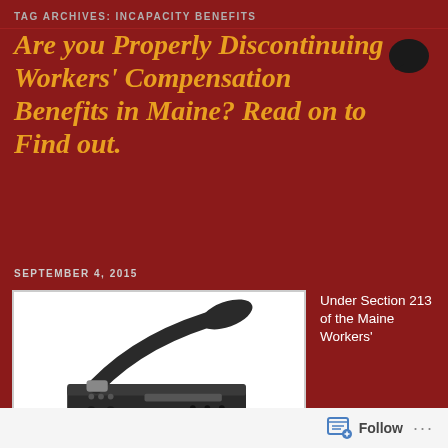TAG ARCHIVES: INCAPACITY BENEFITS
Are you Properly Discontinuing Workers' Compensation Benefits in Maine? Read on to Find out.
SEPTEMBER 4, 2015
[Figure (photo): Photo of a black hole punch / stapler-like office device on white background]
Under Section 213 of the Maine Workers'
Follow ...